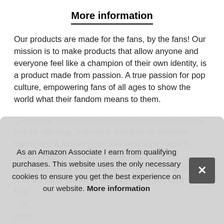More information
Our products are made for the fans, by the fans! Our mission is to make products that allow anyone and everyone feel like a champion of their own identity, is a product made from passion. A true passion for pop culture, empowering fans of all ages to show the world what their fandom means to them.
Crew neck finish with cotton and lycra rib and single needle stitching, self fabric shoulder to shoulder taping and a fashionable boyfriend style loose fit. About popgear - what we have that's different, whether that's the excitement for the opening night of your favourite movie or the memories you crea... Pop... - ric... gra... the...
As an Amazon Associate I earn from qualifying purchases. This website uses the only necessary cookies to ensure you get the best experience on our website. More information